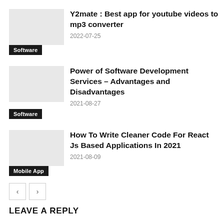Y2mate : Best app for youtube videos to mp3 converter
2022-07-25
Software
Power of Software Development Services – Advantages and Disadvantages
2021-08-27
Software
How To Write Cleaner Code For React Js Based Applications In 2021
2021-08-09
Mobile App
LEAVE A REPLY